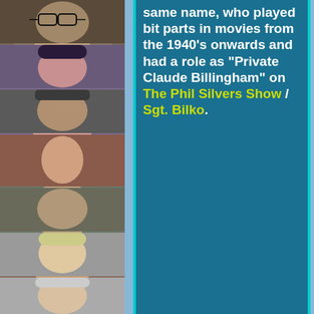[Figure (photo): Strip of 7 celebrity/actor photos stacked vertically on the left side]
same name, who played bit parts in movies from the 1940's onwards and had a role as "Private Claude Billingham" on The Phil Silvers Show / Sgt. Bilko.